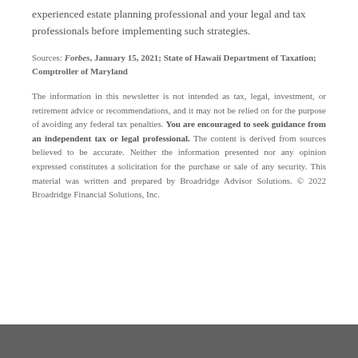experienced estate planning professional and your legal and tax professionals before implementing such strategies.
Sources: Forbes, January 15, 2021; State of Hawaii Department of Taxation; Comptroller of Maryland
The information in this newsletter is not intended as tax, legal, investment, or retirement advice or recommendations, and it may not be relied on for the purpose of avoiding any federal tax penalties. You are encouraged to seek guidance from an independent tax or legal professional. The content is derived from sources believed to be accurate. Neither the information presented nor any opinion expressed constitutes a solicitation for the purchase or sale of any security. This material was written and prepared by Broadridge Advisor Solutions. © 2022 Broadridge Financial Solutions, Inc.